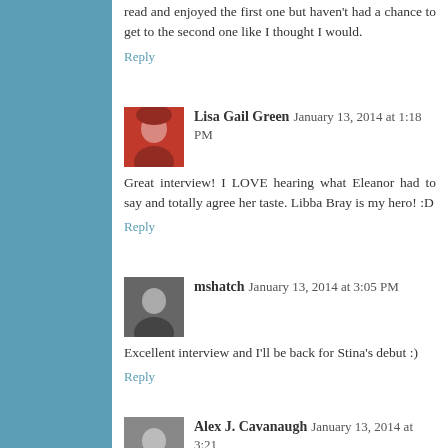read and enjoyed the first one but haven't had a chance to get to the second one like I thought I would.
Reply
Lisa Gail Green  January 13, 2014 at 1:18 PM
Great interview! I LOVE hearing what Eleanor had to say and totally agree her taste. Libba Bray is my hero! :D
Reply
mshatch  January 13, 2014 at 3:05 PM
Excellent interview and I'll be back for Stina's debut :)
Reply
Alex J. Cavanaugh  January 13, 2014 at 3:21